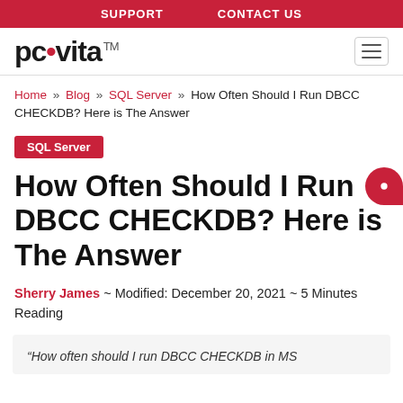SUPPORT   CONTACT US
[Figure (logo): pcvita logo with red dot and TM superscript, plus hamburger menu icon]
Home » Blog » SQL Server » How Often Should I Run DBCC CHECKDB? Here is The Answer
SQL Server
How Often Should I Run DBCC CHECKDB? Here is The Answer
Sherry James ~ Modified: December 20, 2021 ~ 5 Minutes Reading
“How often should I run DBCC CHECKDB in MS